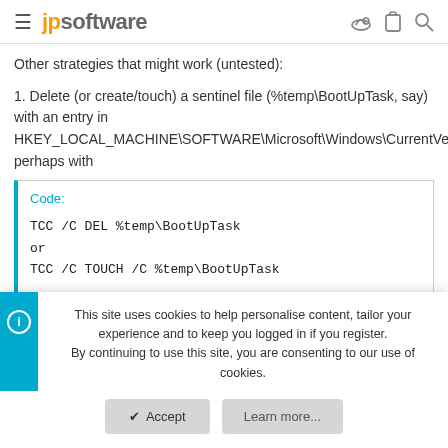jpsoftware
Other strategies that might work (untested):
1. Delete (or create/touch) a sentinel file (%temp\BootUpTask, say) with an entry in HKEY_LOCAL_MACHINE\SOFTWARE\Microsoft\Windows\CurrentVersion\Run, perhaps with
Code:
TCC /C DEL %temp\BootUpTask
or
TCC /C TOUCH /C %temp\BootUpTask
This site uses cookies to help personalise content, tailor your experience and to keep you logged in if you register.
By continuing to use this site, you are consenting to our use of cookies.